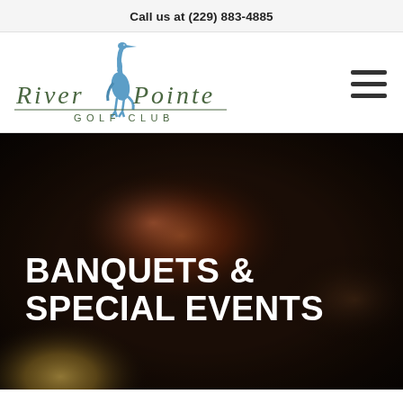Call us at (229) 883-4885
[Figure (logo): River Pointe Golf Club logo with blue heron bird illustration above the text 'River Pointe Golf Club']
[Figure (photo): Dark atmospheric photo showing blurred food and drinks on a table at a banquet/event venue with warm bokeh lighting]
BANQUETS & SPECIAL EVENTS